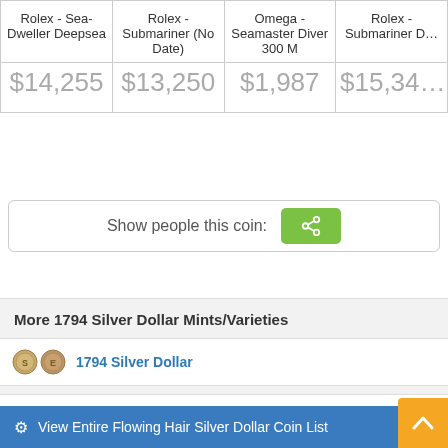| Rolex - Sea-Dweller Deepsea | Rolex - Submariner (No Date) | Omega - Seamaster Diver 300 M | Rolex - Submariner D… |
| --- | --- | --- | --- |
| $14,255 | $13,250 | $1,987 | $15,34… |
Show people this coin:
More 1794 Silver Dollar Mints/Varieties
1794 Silver Dollar
1794 Silver Dollar: Silver Plug (Unique and Extremely Rare)
View Entire Flowing Hair Silver Dollar Coin List